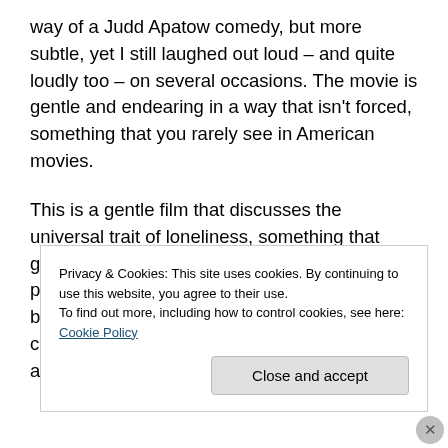way of a Judd Apatow comedy, but more subtle, yet I still laughed out loud – and quite loudly too – on several occasions. The movie is gentle and endearing in a way that isn't forced, something that you rarely see in American movies.
This is a gentle film that discusses the universal trait of loneliness, something that goes beyond culture, nation or religion. The pace is slow enough to nearly lull you to sleep, but I found it a means to easily enter into the charm of the movie. I suspect that this will appeal to a very
Privacy & Cookies: This site uses cookies. By continuing to use this website, you agree to their use.
To find out more, including how to control cookies, see here: Cookie Policy